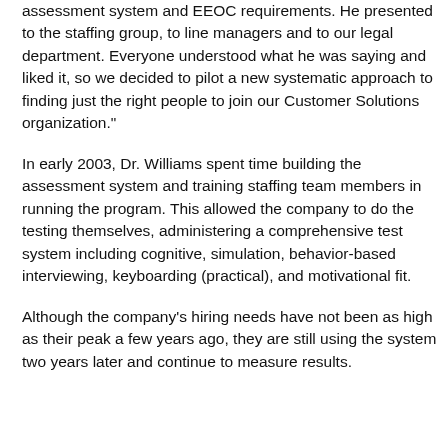assessment system and EEOC requirements. He presented to the staffing group, to line managers and to our legal department. Everyone understood what he was saying and liked it, so we decided to pilot a new systematic approach to finding just the right people to join our Customer Solutions organization."
In early 2003, Dr. Williams spent time building the assessment system and training staffing team members in running the program. This allowed the company to do the testing themselves, administering a comprehensive test system including cognitive, simulation, behavior-based interviewing, keyboarding (practical), and motivational fit.
Although the company's hiring needs have not been as high as their peak a few years ago, they are still using the system two years later and continue to measure results.